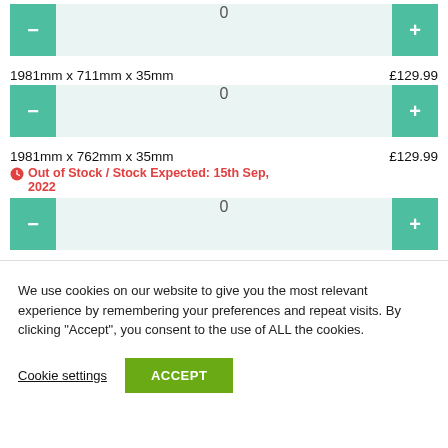0
1981mm x 711mm x 35mm   £129.99
0
1981mm x 762mm x 35mm   £129.99
Out of Stock / Stock Expected: 15th Sep, 2022
0
We use cookies on our website to give you the most relevant experience by remembering your preferences and repeat visits. By clicking "Accept", you consent to the use of ALL the cookies.
Cookie settings
ACCEPT